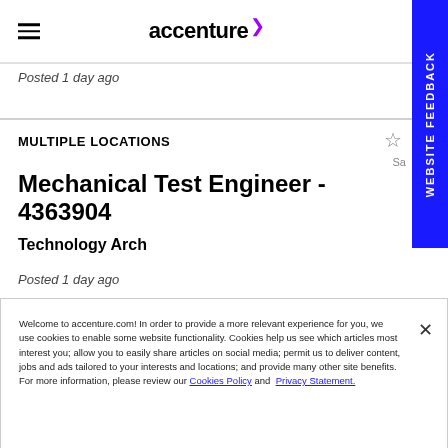accenture
Posted 1 day ago
MULTIPLE LOCATIONS
Mechanical Test Engineer - 4363904
Technology Arch
Posted 1 day ago
Welcome to accenture.com! In order to provide a more relevant experience for you, we use cookies to enable some website functionality. Cookies help us see which articles most interest you; allow you to easily share articles on social media; permit us to deliver content, jobs and ads tailored to your interests and locations; and provide many other site benefits. For more information, please review our Cookies Policy and Privacy Statement.
Cookies Settings
SEARCH JOBS | CAREERS BLOG | REGISTER FOR JOB ALERTS